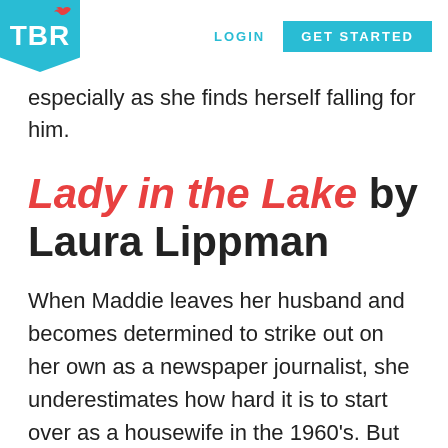TBR | LOGIN | GET STARTED
especially as she finds herself falling for him.
Lady in the Lake by Laura Lippman
When Maddie leaves her husband and becomes determined to strike out on her own as a newspaper journalist, she underestimates how hard it is to start over as a housewife in the 1960's. But when she